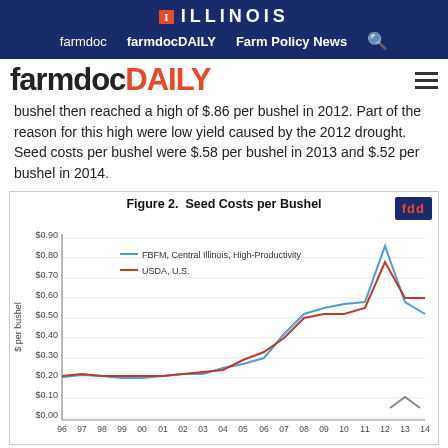I ILLINOIS — farmdoc  farmdocDAILY  Farm Policy News
farmdocDAILY
bushel then reached a high of $.86 per bushel in 2012. Part of the reason for this high were low yield caused by the 2012 drought. Seed costs per bushel were $.58 per bushel in 2013 and $.52 per bushel in 2014.
[Figure (line-chart): Figure 2. Seed Costs per Bushel]